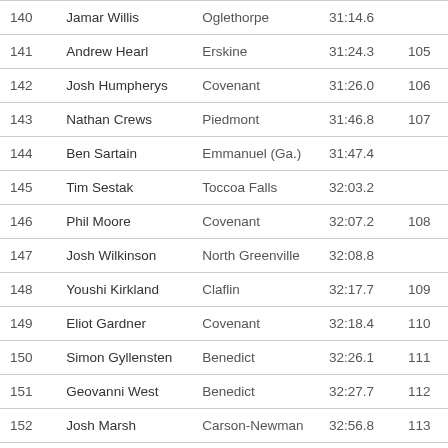| Place | Name | School | Time | Score |
| --- | --- | --- | --- | --- |
| 140 | Jamar Willis | Oglethorpe | 31:14.6 |  |
| 141 | Andrew Hearl | Erskine | 31:24.3 | 105 |
| 142 | Josh Humpherys | Covenant | 31:26.0 | 106 |
| 143 | Nathan Crews | Piedmont | 31:46.8 | 107 |
| 144 | Ben Sartain | Emmanuel (Ga.) | 31:47.4 |  |
| 145 | Tim Sestak | Toccoa Falls | 32:03.2 |  |
| 146 | Phil Moore | Covenant | 32:07.2 | 108 |
| 147 | Josh Wilkinson | North Greenville | 32:08.8 |  |
| 148 | Youshi Kirkland | Claflin | 32:17.7 | 109 |
| 149 | Eliot Gardner | Covenant | 32:18.4 | 110 |
| 150 | Simon Gyllensten | Benedict | 32:26.1 | 111 |
| 151 | Geovanni West | Benedict | 32:27.7 | 112 |
| 152 | Josh Marsh | Carson-Newman | 32:56.8 | 113 |
| 153 | Max McCurley | Erskine | 32:58.6 | 114 |